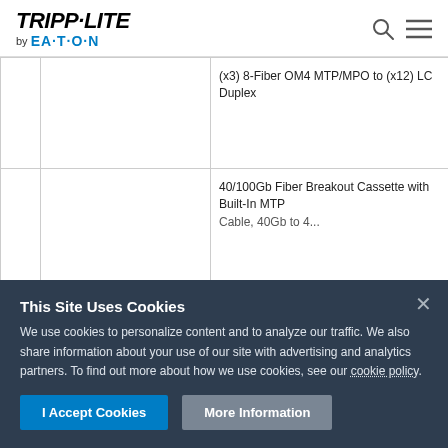TRIPP-LITE by EATON
|  |  | Description |
| --- | --- | --- |
|  |  | (x3) 8-Fiber OM4 MTP/MPO to (x12) LC Duplex |
|  |  | 40/100Gb Fiber Breakout Cassette with Built-In MTP Cable, 40Gb to 4... |
This Site Uses Cookies
We use cookies to personalize content and to analyze our traffic. We also share information about your use of our site with advertising and analytics partners. To find out more about how we use cookies, see our cookie policy.
I Accept Cookies   More Information